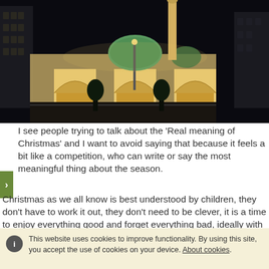[Figure (photo): Night photograph of an illuminated mosque with golden arches, green dome, and minaret, surrounded by urban buildings]
I see people trying to talk about the ‘Real meaning of Christmas’ and I want to avoid saying that because it feels a bit like a competition, who can write or say the most meaningful thing about the season.
Christmas as we all know is best understood by children, they don’t have to work it out, they don’t need to be clever, it is a time to enjoy everything good and forget everything bad, ideally with good company.
This website uses cookies to improve functionality. By using this site, you accept the use of cookies on your device. About cookies.